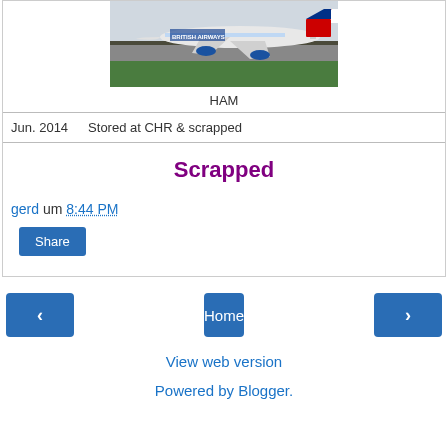[Figure (photo): British Airways aircraft (appears to be an Airbus A320/A321) taxiing on the ground, with green grass in the background. Photographed at HAM (Hamburg Airport).]
HAM
Jun. 2014    Stored at CHR & scrapped
Scrapped
gerd um 8:44 PM
Share
‹
Home
›
View web version
Powered by Blogger.